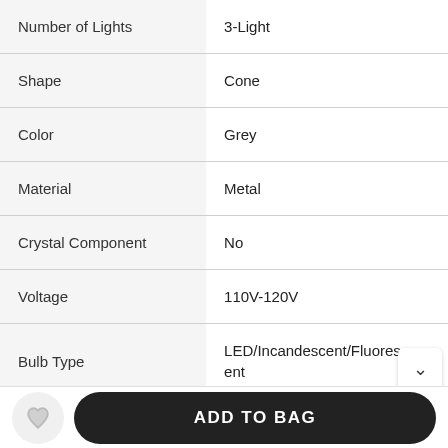| Attribute | Value |
| --- | --- |
| Number of Lights | 3-Light |
| Shape | Cone |
| Color | Grey |
| Material | Metal |
| Crystal Component | No |
| Voltage | 110V-120V |
| Bulb Type | LED/Incandescent/Fluorescent |
ADD TO BAG